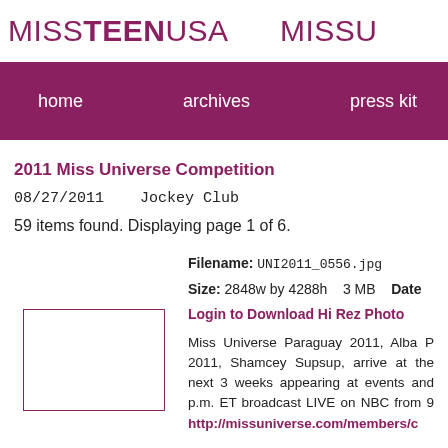MISSTEENUSA   MISSU
[Figure (screenshot): Navigation bar with dark pink/maroon background containing nav links: home, archives, press kit]
2011 Miss Universe Competition
08/27/2011    Jockey Club
59 items found. Displaying page 1 of 6.
Filename: UNI2011_0556.jpg
Size: 2848w by 4288h    3 MB    Date
Login to Download Hi Rez Photo
[Figure (photo): Thumbnail placeholder box with maroon border]
Miss Universe Paraguay 2011, Alba P 2011, Shamcey Supsup, arrive at the next 3 weeks appearing at events and p.m. ET broadcast LIVE on NBC from 9 http://missuniverse.com/members/c